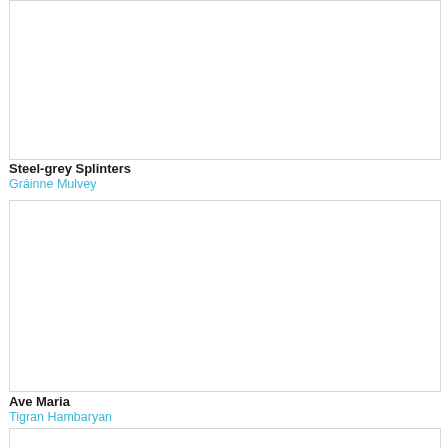[Figure (other): Blank white image placeholder box (top, partially visible)]
Steel-grey Splinters
Gráinne Mulvey
[Figure (other): Blank white image placeholder box]
Ave Maria
Tigran Hambaryan
[Figure (other): Blank white image placeholder box]
Becomings (Das Werden) V
Sam Hayden
[Figure (other): Blank white image placeholder box (bottom, partially visible)]